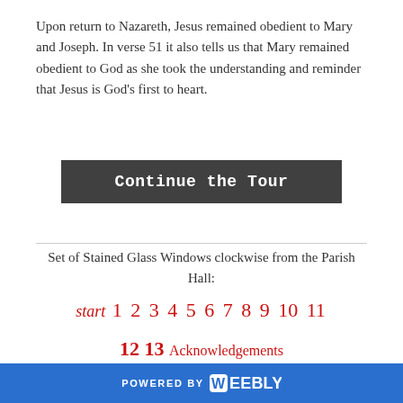Upon return to Nazareth, Jesus remained obedient to Mary and Joseph. In verse 51 it also tells us that Mary remained obedient to God as she took the understanding and reminder that Jesus is God's first to heart.
Continue the Tour
Set of Stained Glass Windows clockwise from the Parish Hall:
start  1  2  3  4  5  6  7  8  9  10  11
12  13  Acknowledgements
POWERED BY weebly